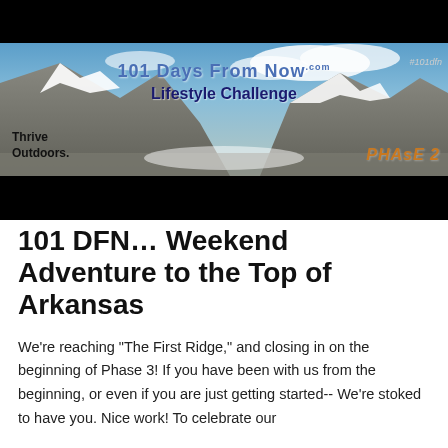[Figure (illustration): Banner image for '101 Days From Now Lifestyle Challenge' showing a mountain landscape with snow-capped peaks and blue sky. Text overlays include '101 Days From Now', 'Lifestyle Challenge', '#101dfn', 'Thrive Outdoors', and 'PHASE 2' in orange. Black bars appear above and below the mountain image.]
101 DFN... Weekend Adventure to the Top of Arkansas
We're reaching "The First Ridge," and closing in on the beginning of Phase 3!  If you have been with us from the beginning, or even if you are just getting started--  We're stoked to have you.  Nice work! To celebrate our